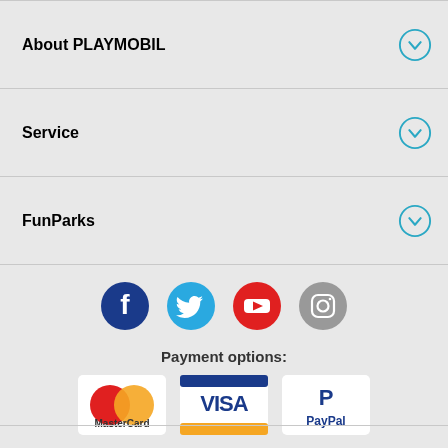About PLAYMOBIL
Service
FunParks
[Figure (infographic): Social media icons: Facebook, Twitter, YouTube, Instagram]
Payment options:
[Figure (infographic): Payment option logos: MasterCard, VISA, PayPal]